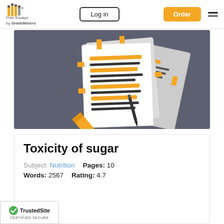Free Essays by GradeMiners | Log in | Order
[Figure (illustration): Illustration of stacked essay papers with yellow highlights and sticky notes, with a highlighter marker and pen, on a dark gray background]
Toxicity of sugar
Subject: Nutrition   Pages: 10
Words: 2567   Rating: 4.7
[Figure (logo): TrustedSite Certified Secure badge]